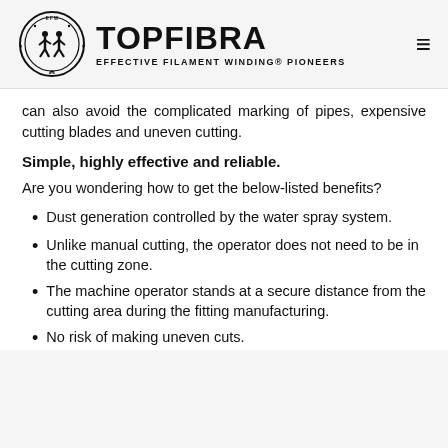TOPFIBRA — EFFECTIVE FILAMENT WINDING® PIONEERS
can also avoid the complicated marking of pipes, expensive cutting blades and uneven cutting.
Simple, highly effective and reliable.
Are you wondering how to get the below-listed benefits?
Dust generation controlled by the water spray system.
Unlike manual cutting, the operator does not need to be in the cutting zone.
The machine operator stands at a secure distance from the cutting area during the fitting manufacturing.
No risk of making uneven cuts.